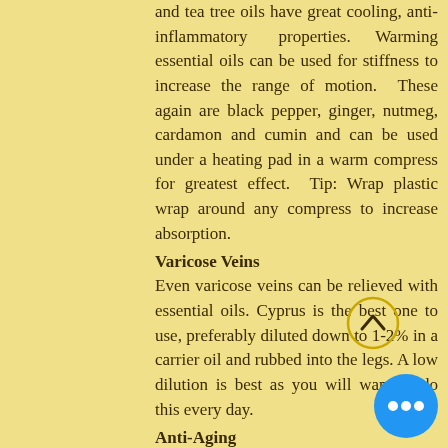and tea tree oils have great cooling, anti-inflammatory properties. Warming essential oils can be used for stiffness to increase the range of motion. These again are black pepper, ginger, nutmeg, cardamon and cumin and can be used under a heating pad in a warm compress for greatest effect. Tip: Wrap plastic wrap around any compress to increase absorption.
Varicose Veins
Even varicose veins can be relieved with essential oils. Cyprus is the best one to use, preferably diluted down to 1-2% in a carrier oil and rubbed into the legs. A low dilution is best as you will want to do this every day.
Anti-Aging
Some essential oils can actually reduce